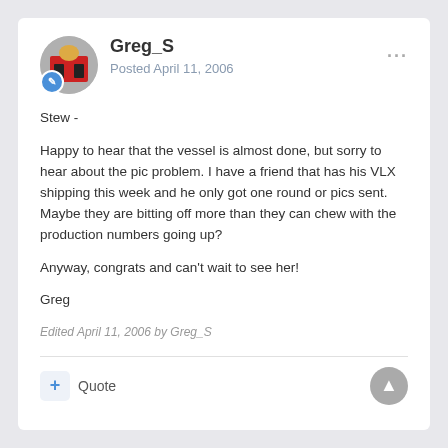Greg_S — Posted April 11, 2006
Stew -
Happy to hear that the vessel is almost done, but sorry to hear about the pic problem. I have a friend that has his VLX shipping this week and he only got one round or pics sent. Maybe they are bitting off more than they can chew with the production numbers going up?
Anyway, congrats and can't wait to see her!
Greg
Edited April 11, 2006 by Greg_S